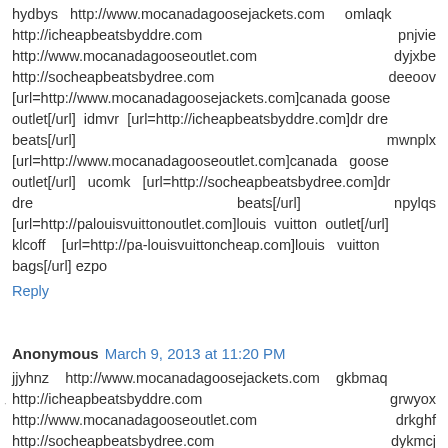hydbys http://www.mocanadagoosejackets.com omlaqk http://icheapbeatsbyddre.com pnjvie http://www.mocanadagooseoutlet.com dyjxbe http://socheapbeatsbydree.com deeoov [url=http://www.mocanadagoosejackets.com]canada goose outlet[/url] idmvr [url=http://icheapbeatsbyddre.com]dr dre beats[/url] mwnplx [url=http://www.mocanadagooseoutlet.com]canada goose outlet[/url] ucomk [url=http://socheapbeatsbydree.com]dr dre beats[/url] npylqs [url=http://palouisvuittonoutlet.com]louis vuitton outlet[/url] klcoff [url=http://pa-louisvuittoncheap.com]louis vuitton bags[/url] ezpo
Reply
Anonymous March 9, 2013 at 11:20 PM
jjyhnz http://www.mocanadagoosejackets.com gkbmaq http://icheapbeatsbyddre.com grwyox http://www.mocanadagooseoutlet.com drkghf http://socheapbeatsbydree.com dykmcj [url=http://www.mocanadagoosejackets.com]canada goose